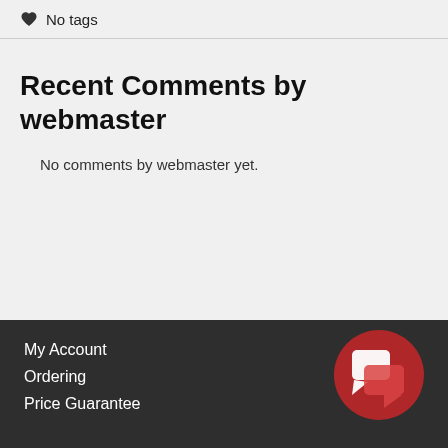No tags
Recent Comments by webmaster
No comments by webmaster yet.
My Account
Ordering
Price Guarantee